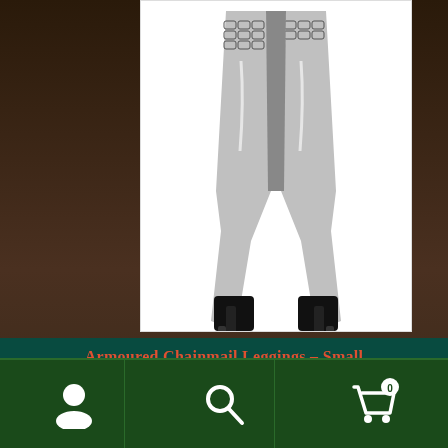[Figure (photo): Product photo of Armoured Chainmail Leggings on a model, showing legs from mid-thigh down wearing black and white chainmail-print leggings with black high-heel boots, on a white background]
Armoured Chainmail Leggings – Small
$65.00
or 4 payments of $16.25 with Afterpay
Account | Search | Cart (0)